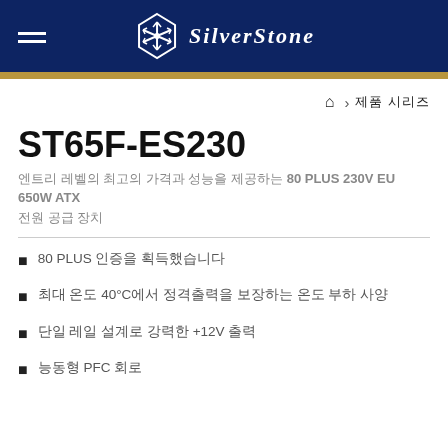SilverStone
홈 > 제품 시리즈
ST65F-ES230
엔트리 레벨의 최고의 가격과 성능을 제공하는 80 PLUS 230V EU 650W ATX 전원 공급 장치
80 PLUS 인증을 획득했습니다
최대 온도 40°C에서 정격출력을 보장하는 온도 부하 사양
단일 레일 설계로 강력한 +12V 출력
능동형 PFC 회로